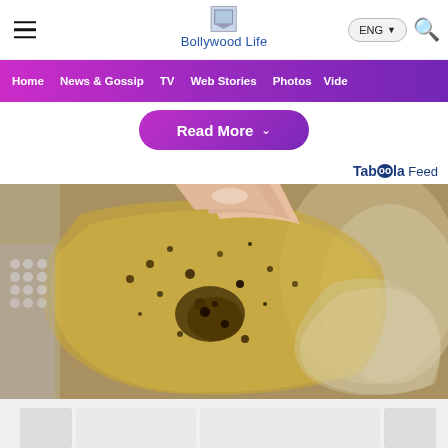Bollywood Life
[Figure (screenshot): Website navigation bar with hamburger menu, Bollywood Life logo, ENG language selector, and search icon]
[Figure (screenshot): Purple gradient navigation menu with items: Home, News & Gossip, TV, Web Stories, Photos, Video]
[Figure (screenshot): Read More button with dropdown chevron in purple gradient style]
Taboola Feed
[Figure (photo): Close-up photo of hands holding a translucent golden/yellow candy or food item with dark spice/herb speckling, over a crystal bowl]